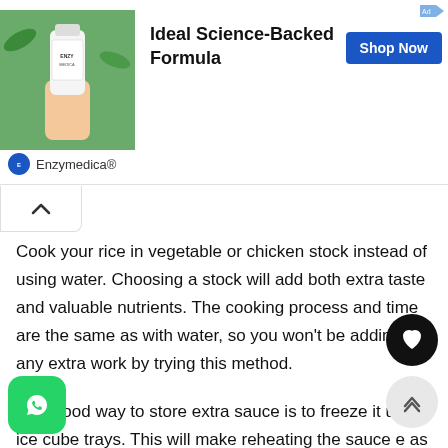[Figure (photo): Advertisement banner: photo of hand holding supplement bottle with green plant background, bold title 'Ideal Science-Backed Formula', blue 'Shop Now' button, Enzymedica brand logo]
Cook your rice in vegetable or chicken stock instead of using water. Choosing a stock will add both extra taste and valuable nutrients. The cooking process and time are the same as with water, so you won't be adding any extra work by trying this method.
One good way to store extra sauce is to freeze it using ice cube trays. This will make reheating the sauce e... as you can pull out as many cubes that you need for the meal. The sauce will be very edible after it con... the trays.